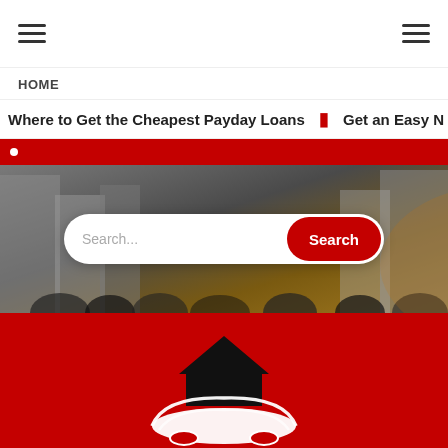Navigation header with hamburger menus on both sides
HOME
Where to Get the Cheapest Payday Loans  🔴  Get an Easy N...
[Figure (screenshot): Hero image with city crowd background and search bar with Search... placeholder and red Search button]
[Figure (logo): Payday Loans VZ logo: white car silhouette with black roof/house shape above, white text PAYDAY LOANS VZ on red background]